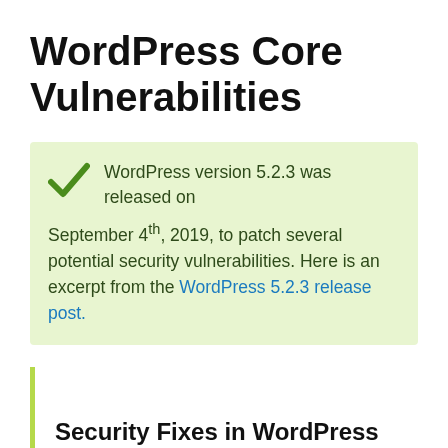WordPress Core Vulnerabilities
WordPress version 5.2.3 was released on September 4th, 2019, to patch several potential security vulnerabilities. Here is an excerpt from the WordPress 5.2.3 release post.
Security Fixes in WordPress 5.2.3